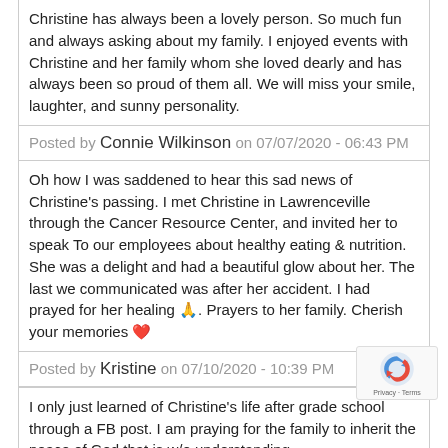Christine has always been a lovely person. So much fun and always asking about my family. I enjoyed events with Christine and her family whom she loved dearly and has always been so proud of them all. We will miss your smile, laughter, and sunny personality.
Posted by Connie Wilkinson on 07/07/2020 - 06:43 PM
Oh how I was saddened to hear this sad news of Christine's passing. I met Christine in Lawrenceville through the Cancer Resource Center, and invited her to speak To our employees about healthy eating & nutrition. She was a delight and had a beautiful glow about her. The last we communicated was after her accident. I had prayed for her healing 🙏. Prayers to her family. Cherish your memories ❤️
Posted by Kristine on 07/10/2020 - 10:39 PM
I only just learned of Christine's life after grade school through a FB post. I am praying for the family to inherit the peace of God that is w/o understanding.
Posted by Brian Brown on 07/27/2020 - 02:23 PM
Post comment